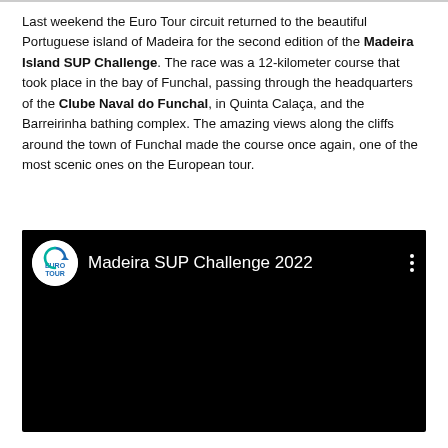Last weekend the Euro Tour circuit returned to the beautiful Portuguese island of Madeira for the second edition of the Madeira Island SUP Challenge. The race was a 12-kilometer course that took place in the bay of Funchal, passing through the headquarters of the Clube Naval do Funchal, in Quinta Calaça, and the Barreirinha bathing complex. The amazing views along the cliffs around the town of Funchal made the course once again, one of the most scenic ones on the European tour.
[Figure (screenshot): YouTube video embed showing 'Madeira SUP Challenge 2022' with Euro Tour logo on left and three-dot menu on right, black background]